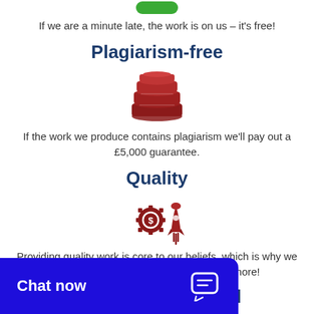If we are a minute late, the work is on us – it's free!
Plagiarism-free
[Figure (illustration): Stack of books icon in dark red/maroon color]
If the work we produce contains plagiarism we'll pay out a £5,000 guarantee.
Quality
[Figure (illustration): Gear with dollar sign and rocket icon in dark red/maroon color representing quality]
Providing quality work is core to our beliefs, which is why we will strive to give you exactly that, and more!
Written to Standard
[Figure (illustration): Green circle checkmark/target icon representing written to standard]
...ringent quality checking